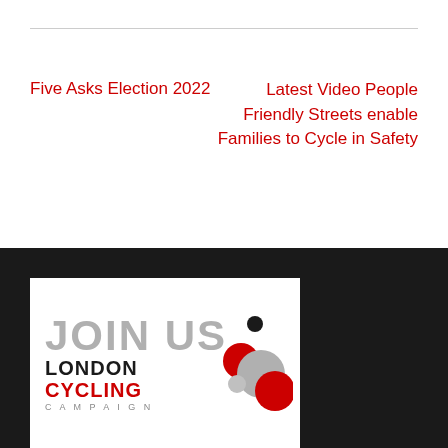Five Asks Election 2022
Latest Video People Friendly Streets enable Families to Cycle in Safety
[Figure (logo): JOIN US London Cycling Campaign logo with red, black and grey circles on white background, inside a dark background section]